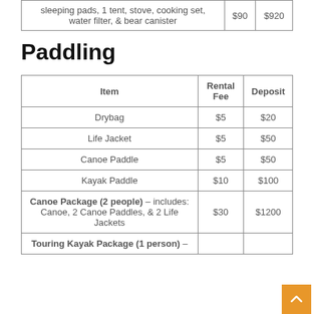| Item | Rental Fee | Deposit |
| --- | --- | --- |
| sleeping pads, 1 tent, stove, cooking set, water filter, & bear canister | $90 | $920 |
Paddling
| Item | Rental Fee | Deposit |
| --- | --- | --- |
| Drybag | $5 | $20 |
| Life Jacket | $5 | $50 |
| Canoe Paddle | $5 | $50 |
| Kayak Paddle | $10 | $100 |
| Canoe Package (2 people) – includes: Canoe, 2 Canoe Paddles, & 2 Life Jackets | $30 | $1200 |
| Touring Kayak Package (1 person) – |  |  |